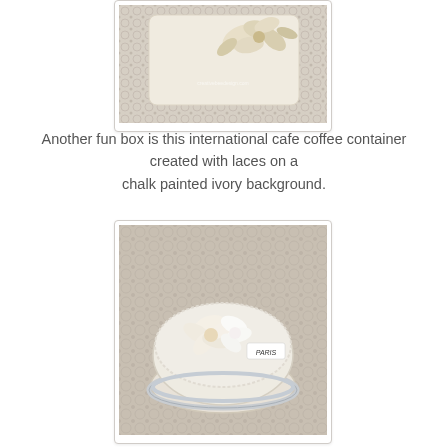[Figure (photo): Close-up photo of a decorative box with chalk-painted ivory background, adorned with fabric flowers and lace, on a lace tablecloth background. Watermark text reads creativebeedesign.com.]
Another fun box is this international cafe coffee container created with laces on a chalk painted ivory background.
[Figure (photo): Photo of a heart-shaped decorative box covered in lace and cream fabric flowers, with a label reading 'PARIS', sitting on a crochet lace tablecloth. The box has a silver lace trim around the base.]